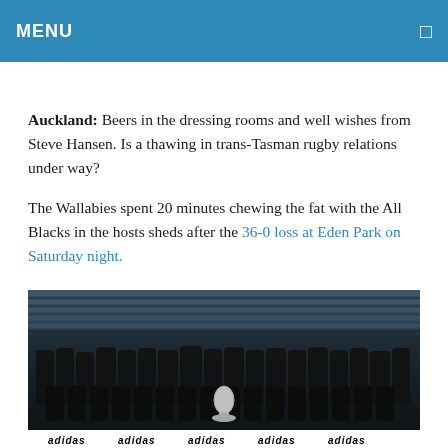MENU
Auckland: Beers in the dressing rooms and well wishes from Steve Hansen. Is a thawing in trans-Tasman rugby relations under way?
The Wallabies spent 20 minutes chewing the fat with the All Blacks in the hosts sheds after the 36-0 loss at Eden Park on Saturday night.
[Figure (photo): Group photo of the All Blacks rugby team in black uniforms posing with a trophy at Eden Park stadium, with adidas branding visible at the bottom.]